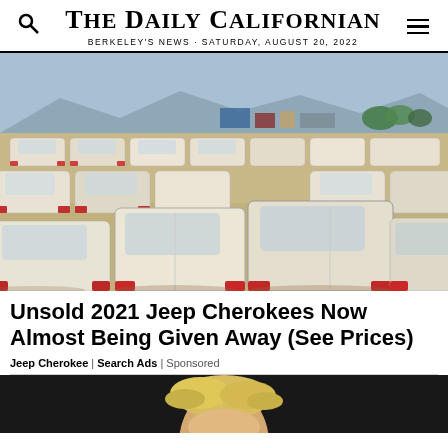THE DAILY CALIFORNIAN — BERKELEY'S NEWS · SATURDAY, AUGUST 20, 2022
[Figure (photo): Large lot full of rows of white cars (SUVs/sedans) parked in a desert setting with mountains in background]
Unsold 2021 Jeep Cherokees Now Almost Being Given Away (See Prices)
Jeep Cherokee | Search Ads | Sponsored
[Figure (photo): Partial photo of a blonde person against a dark background, visible from top of head only]